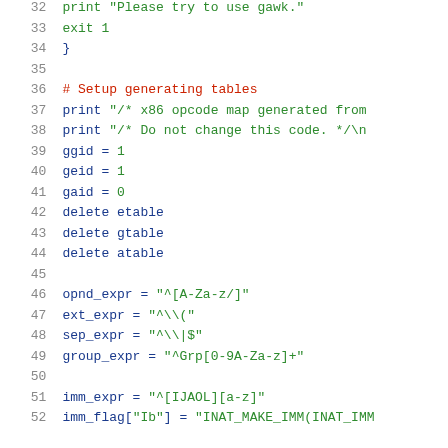Code listing lines 32-52, AWK script source code
32: print "Please try to use gawk."
33: exit 1
34: }
35: (blank)
36: # Setup generating tables
37: print "/* x86 opcode map generated from
38: print "/* Do not change this code. */\n
39: ggid = 1
40: geid = 1
41: gaid = 0
42: delete etable
43: delete gtable
44: delete atable
45: (blank)
46: opnd_expr = "^[A-Za-z/]"
47: ext_expr = "^\\("
48: sep_expr = "^\\|$"
49: group_expr = "^Grp[0-9A-Za-z]+"
50: (blank)
51: imm_expr = "^[IJAOL][a-z]"
52: imm_flag["Ib"] = "INAT_MAKE_IMM(INAT_IMM